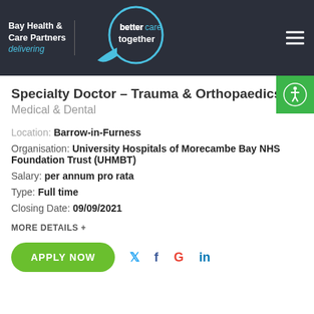Bay Health & Care Partners delivering | better care together
Specialty Doctor – Trauma & Orthopaedics
Medical & Dental
Location: Barrow-in-Furness
Organisation: University Hospitals of Morecambe Bay NHS Foundation Trust (UHMBT)
Salary: per annum pro rata
Type: Full time
Closing Date: 09/09/2021
MORE DETAILS +
APPLY NOW